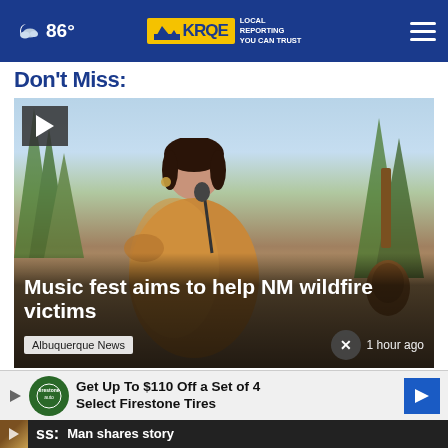86° KRQE LOCAL REPORTING YOU CAN TRUST
Don't Miss:
[Figure (screenshot): Video thumbnail of a woman singing at an outdoor music festival with guitar visible. Overlaid text reads 'Music fest aims to help NM wildfire victims'. Tag 'Albuquerque News' and '1 hour ago' shown at bottom.]
Music fest aims to help NM wildfire victims
Albuquerque News
1 hour ago
[Figure (infographic): Advertisement banner: Get Up To $110 Off a Set of 4 Select Firestone Tires]
Man shares story